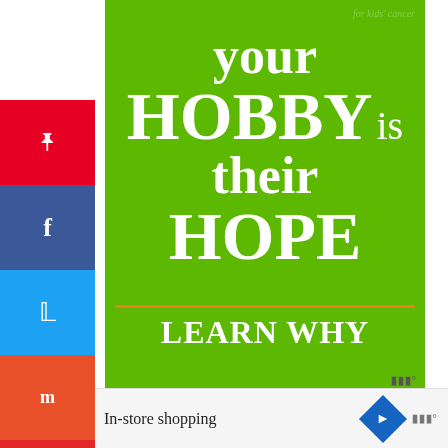[Figure (advertisement): Green advertisement banner: 'your HOBBY is their HOPE – LEARN WHY' for kids' cancer charity]
hile you can take the commuter rail there, it's sier to get to and from Foxboro via car.
e Boston College Eagles play at Alumni adium in Chestnut Hill, MA, right on the city rder, so it's quite easy to get to a gam... blic transportation.
[Figure (infographic): What's Next: Vermont in the Fall Travel...]
[Figure (advertisement): Bottom Lidl advertisement: In-store shopping]